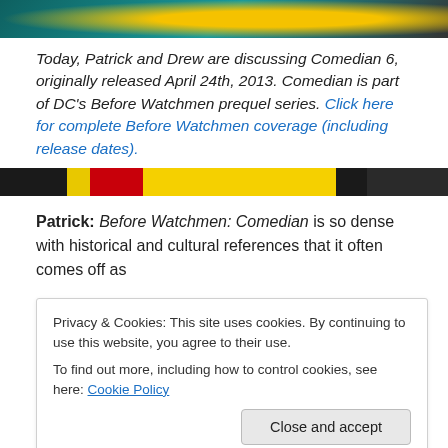[Figure (photo): Partial top portion of a comic book cover image with teal/dark tones and yellow accent]
Today, Patrick and Drew are discussing Comedian 6, originally released April 24th, 2013. Comedian is part of DC's Before Watchmen prequel series. Click here for complete Before Watchmen coverage (including release dates).
[Figure (photo): Horizontal strip from a comic book image showing yellow, red and black colors — appears to be the Comedian's badge/costume]
Patrick: Before Watchmen: Comedian is so dense with historical and cultural references that it often comes off as
Privacy & Cookies: This site uses cookies. By continuing to use this website, you agree to their use.
To find out more, including how to control cookies, see here: Cookie Policy
Close and accept
In light of his massacre of the village in Vietnam, Eddie is